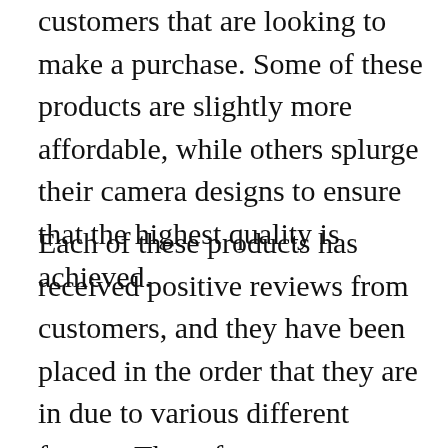customers that are looking to make a purchase. Some of these products are slightly more affordable, while others splurge their camera designs to ensure that the highest quality is achieved.
Each of these products has received positive reviews from customers, and they have been placed in the order that they are in due to various different factors. These factors are generalized between overall value, quality, features, and price range. Hopefully this list makes it significantly easier to make your purchase choice when looking for the best vlogging camera.